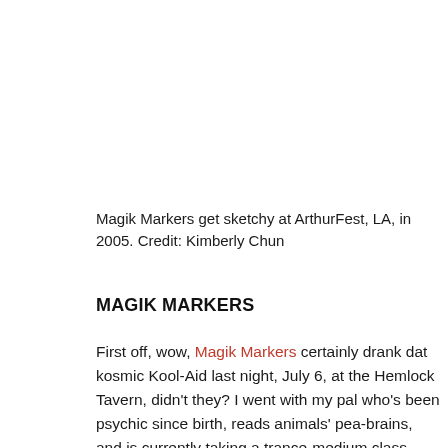Magik Markers get sketchy at ArthurFest, LA, in 2005. Credit: Kimberly Chun
MAGIK MARKERS
First off, wow, Magik Markers certainly drank dat kosmic Kool-Aid last night, July 6, at the Hemlock Tavern, didn't they? I went with my pal who's been psychic since birth, reads animals' pea-brains, and is currently taking a trance-medium class — and she swears that the MM's magnetic cutie-pie vocalist Elisa Ambrogio is